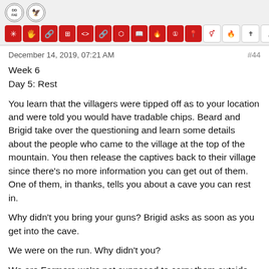Header with logo icons and navigation icon bar
December 14, 2019, 07:21 AM
#44
Week 6
Day 5: Rest
You learn that the villagers were tipped off as to your location and were told you would have tradable chips. Beard and Brigid take over the questioning and learn some details about the people who came to the village at the top of the mountain. You then release the captives back to their village since there's no more information you can get out of them. One of them, in thanks, tells you about a cave you can rest in.
Why didn't you bring your guns? Brigid asks as soon as you get into the cave.
We were on the run. Why didn't you?
We are Farmers we're not supposed to carry them outside the farm sweetheart.
But you're Protection Crew.
It doesn't matter. Beard intervenes. Anyway we have information